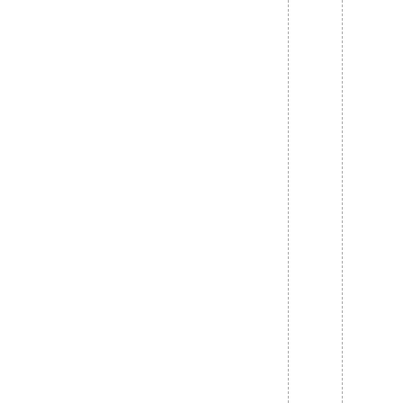chivesofTheDetroitnews/SportSP